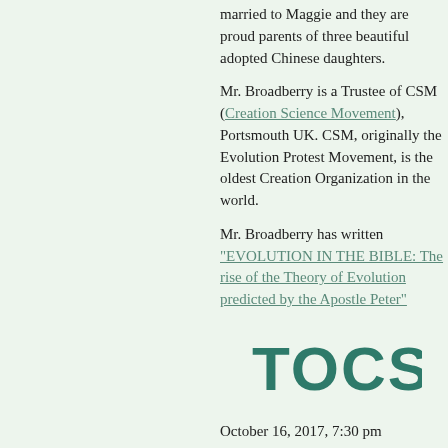married to Maggie and they are proud parents of three beautiful adopted Chinese daughters.
Mr. Broadberry is a Trustee of CSM (Creation Science Movement), Portsmouth UK. CSM, originally the Evolution Protest Movement, is the oldest Creation Organization in the world.
Mr. Broadberry has written "EVOLUTION IN THE BIBLE: The rise of the Theory of Evolution predicted by the Apostle Peter"
[Figure (logo): TOCSA logo in teal/dark green stylized text]
October 16, 2017, 7:30 pm
Richard Broadberry
"God's Promise to the Chinese"